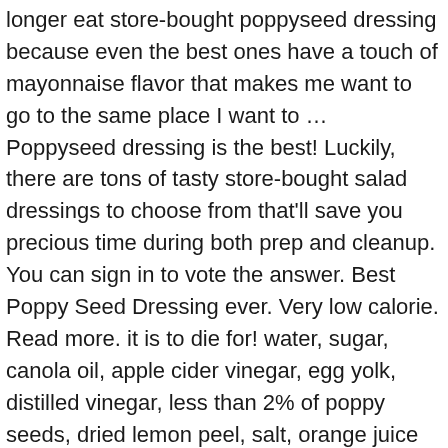longer eat store-bought poppyseed dressing because even the best ones have a touch of mayonnaise flavor that makes me want to go to the same place I want to … Poppyseed dressing is the best! Luckily, there are tons of tasty store-bought salad dressings to choose from that'll save you precious time during both prep and cleanup. You can sign in to vote the answer. Best Poppy Seed Dressing ever. Very low calorie. Read more. it is to die for! water, sugar, canola oil, apple cider vinegar, egg yolk, distilled vinegar, less than 2% of poppy seeds, dried lemon peel, salt, orange juice concentrate, dried onion, natural flavor, lemon juice concentrate, xanthan gum, acacia gum. We have found the best teva flip flops mush available today. Take a spin through our top picks to meet your new favorite dressing. Important - Refrigerated items are perishable and tend to have short shelf lives - some of these can be as little as two weeks from the date of receipt - if you are ordering a large quantity, or are otherwise concerned about expiration dates, consider a frozen product. We have likewise incorporated an extensive guide that